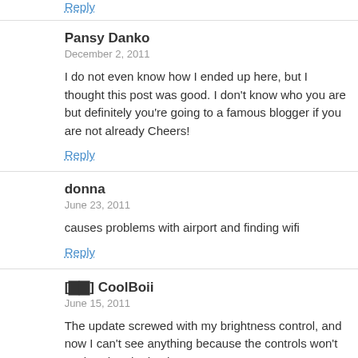Reply
Pansy Danko
December 2, 2011
I do not even know how I ended up here, but I thought this post was good. I don't know who you are but definitely you're going to a famous blogger if you are not already Cheers!
Reply
donna
June 23, 2011
causes problems with airport and finding wifi
Reply
[⬛⬛] CoolBoii
June 15, 2011
The update screwed with my brightness control, and now I can't see anything because the controls won't work. What the heck man….
Reply